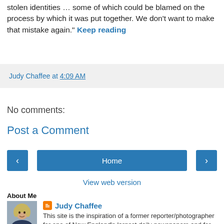stolen identities … some of which could be blamed on the process by which it was put together. We don't want to make that mistake again." Keep reading
Judy Chaffee at 4:09 AM
No comments:
Post a Comment
< Home >
View web version
About Me
[Figure (photo): Photo of Judy Chaffee, a woman with short blonde hair]
Judy Chaffee
This site is the inspiration of a former reporter/photographer for one of New England's largest daily newspapers and for various magazines. The intent